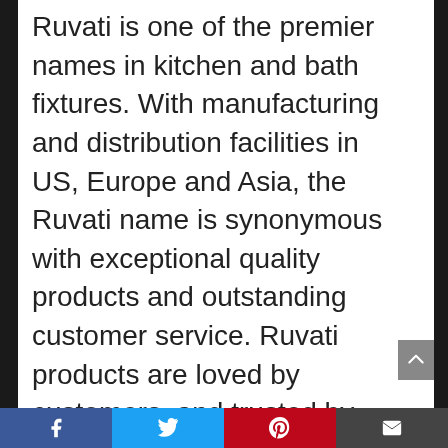Ruvati is one of the premier names in kitchen and bath fixtures. With manufacturing and distribution facilities in US, Europe and Asia, the Ruvati name is synonymous with exceptional quality products and outstanding customer service. Ruvati products are loved by customers, and trusted by leading interior designers and custom-home builders. This Ruvati sink from the Gravena collection offers a modern, linear style with rectangular bowls. This sink is constructed from 16 GAUGE stainless steel, one of the thickest steel available for residential kitchens. Ruvati uses T-304 grade stainless steel with a 18:10 Nickel:Chromium content ensuring that your
Facebook | Twitter | Pinterest | Email